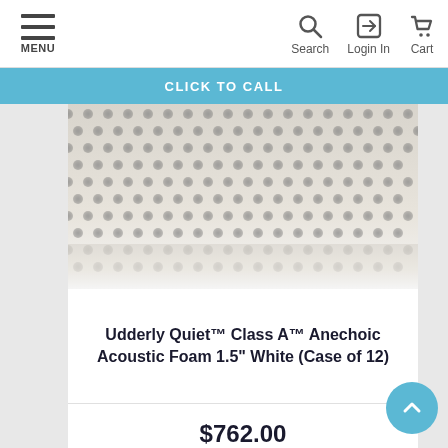MENU  Search  Login In  Cart
CLICK TO CALL
[Figure (photo): Close-up photo of Udderly Quiet anechoic acoustic foam with a diagonal dot/dimple pattern, white/grey color, shot at an angle showing texture detail]
Udderly Quiet™ Class A™ Anechoic Acoustic Foam 1.5" White (Case of 12)
$762.00
SHOP NOW